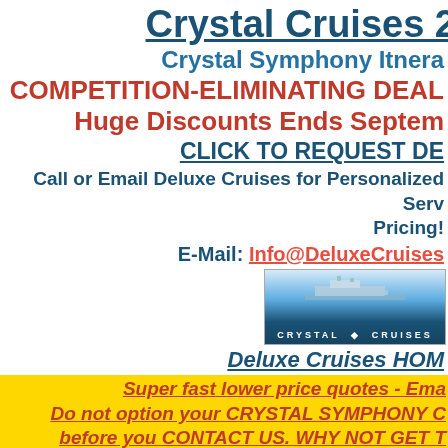Crystal Cruises 2
Crystal Symphony Itnera
COMPETITION-ELIMINATING DEAL
Huge Discounts Ends Septem
CLICK TO REQUEST DE
Call or Email Deluxe Cruises for Personalized Serv Pricing!
E-Mail: Info@DeluxeCruises
[Figure (logo): Crystal Cruises logo with ship image and teal/blue gradient background]
Deluxe Cruises HOM
Super fast lower price quotes - Ema
Do not option your CRYSTAL SYMPHONY C before you CONTACT US. WHY NOT GET T OUTSET?
Already Booked Directly with Crystal Cruise unique system for securing SOLD OUT or W
Get a Quote | Departure Date | Days